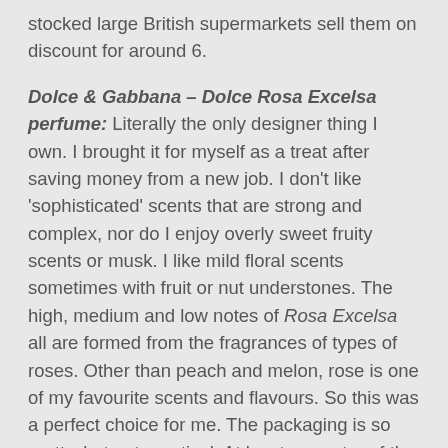stocked large British supermarkets sell them on discount for around 6.
Dolce & Gabbana – Dolce Rosa Excelsa perfume: Literally the only designer thing I own. I brought it for myself as a treat after saving money from a new job. I don't like 'sophisticated' scents that are strong and complex, nor do I enjoy overly sweet fruity scents or musk. I like mild floral scents sometimes with fruit or nut understones. The high, medium and low notes of Rosa Excelsa all are formed from the fragrances of types of roses. Other than peach and melon, rose is one of my favourite scents and flavours. So this was a perfect choice for me. The packaging is so pretty, but not practical. At least a quarter of the perfume leaked in my in-flight transparent ziplock bag